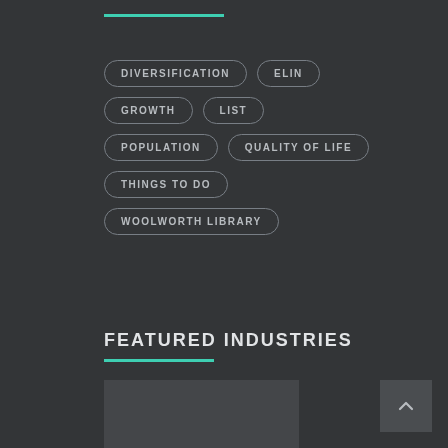DIVERSIFICATION
ELIN
GROWTH
LIST
POPULATION
QUALITY OF LIFE
THINGS TO DO
WOOLWORTH LIBRARY
FEATURED INDUSTRIES
[Figure (other): Dark placeholder image block at bottom of page]